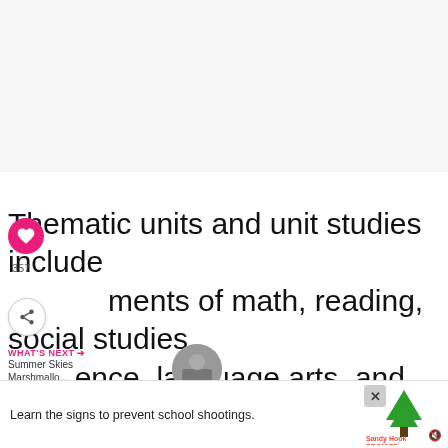[Figure (photo): Blank/white image placeholder area at top of page]
Thematic units and unit studies include elements of math, reading, social studies, science, language arts, and STEM. Most thematic units are used at the preschool and kindergarten level, although you can also study using some elements of unit studies in older grades.
[Figure (infographic): Ad banner: Learn the signs to prevent school shootings. Sandy Hook Promise logo with tree graphic.]